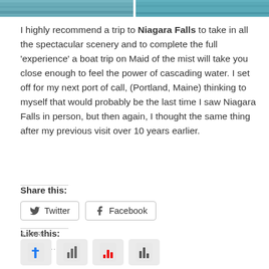[Figure (photo): Two cropped photos of water/waterfall scenery at the top of the page, shown as horizontal strips]
I highly recommend a trip to Niagara Falls to take in all the spectacular scenery and to complete the full ‘experience’ a boat trip on Maid of the mist will take you close enough to feel the power of cascading water. I set off for my next port of call, (Portland, Maine) thinking to myself that would probably be the last time I saw Niagara Falls in person, but then again, I thought the same thing after my previous visit over 10 years earlier.
Share this:
Twitter   Facebook
Like this:
Loading...
SHARE
[Figure (illustration): Row of social share icon buttons at bottom of page]